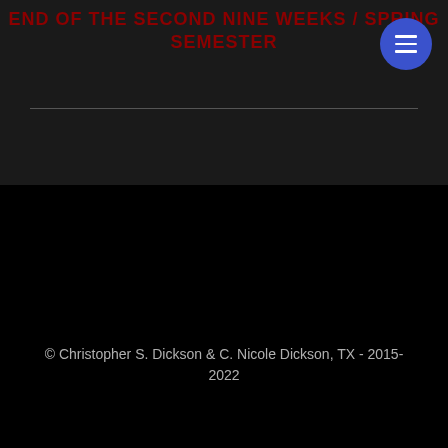END OF THE SECOND NINE WEEKS / SPRING SEMESTER
© Christopher S. Dickson & C. Nicole Dickson, TX - 2015-2022